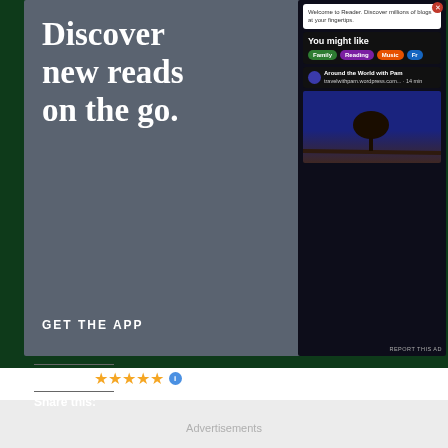[Figure (screenshot): Advertisement banner with dark gray background. Large white serif text reads 'Discover new reads on the go.' with 'GET THE APP' call to action button at bottom.]
[Figure (screenshot): WordPress Reader app advertisement on dark background. Shows 'Welcome to Reader. Discover millions of blogs at your fingertips.' with 'You might like' section showing tags: Family, Reading, Music. Shows blog listing 'Around the World with Pam' and a landscape photo of a lone tree at night.]
Rate this:
3 Votes
Share this:
Advertisements